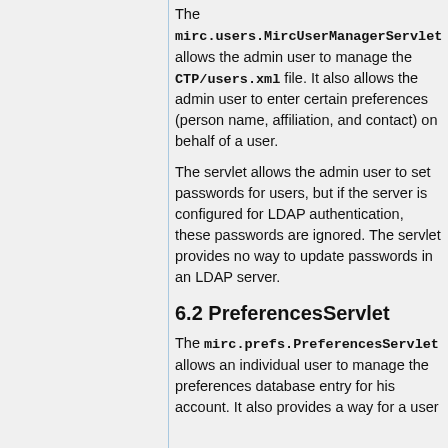The mirc.users.MircUserManagerServlet allows the admin user to manage the CTP/users.xml file. It also allows the admin user to enter certain preferences (person name, affiliation, and contact) on behalf of a user.
The servlet allows the admin user to set passwords for users, but if the server is configured for LDAP authentication, these passwords are ignored. The servlet provides no way to update passwords in an LDAP server.
6.2 PreferencesServlet
The mirc.prefs.PreferencesServlet allows an individual user to manage the preferences database entry for his account. It also provides a way for a user